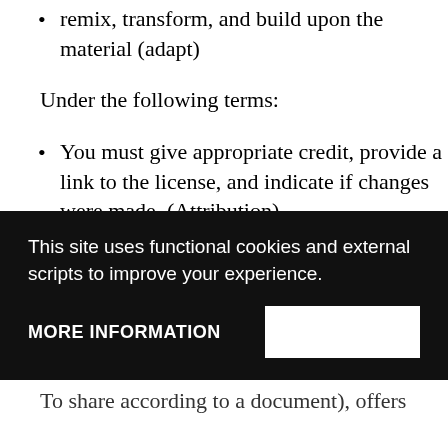remix, transform, and build upon the material (adapt)
Under the following terms:
You must give appropriate credit, provide a link to the license, and indicate if changes were made. (Attribution)
You may not use the material for commercial purposes. (Non-commercial)
If you remix, transform, or build upon the material, you must distribute your contributions under the same
This site uses functional cookies and external scripts to improve your experience.
MORE INFORMATION
To share according to a document), offers you the possibility